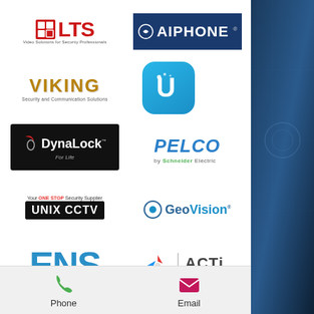[Figure (logo): LTS - Video Solutions for Security Professionals logo, red letters with icon]
[Figure (logo): AIPHONE logo on dark navy blue background]
[Figure (logo): VIKING Security and Communication Solutions logo in gold/bronze]
[Figure (logo): Ubiquiti U logo, blue rounded square icon]
[Figure (logo): DynaLock For Life logo on black background]
[Figure (logo): PELCO by Schneider Electric logo in blue italic]
[Figure (logo): UNIX CCTV - Your ONE STOP Security Supplier logo]
[Figure (logo): GeoVision logo with circular icon]
[Figure (logo): ENS logo in large blue letters]
[Figure (logo): ACTi Connecting Vision logo with colorful icon]
Phone
Email